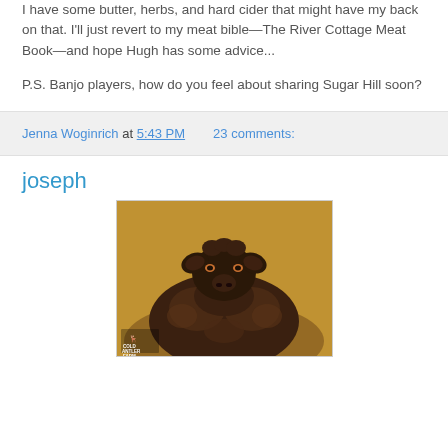I have some butter, herbs, and hard cider that might have my back on that. I'll just revert to my meat bible—The River Cottage Meat Book—and hope Hugh has some advice...
P.S. Banjo players, how do you feel about sharing Sugar Hill soon?
Jenna Woginrich at 5:43 PM   23 comments:
joseph
[Figure (photo): Close-up photograph of a dark brown/black sheep with woolly fleece looking directly at the camera, warm golden-brown background, Cold Antler Farm logo in bottom left corner]